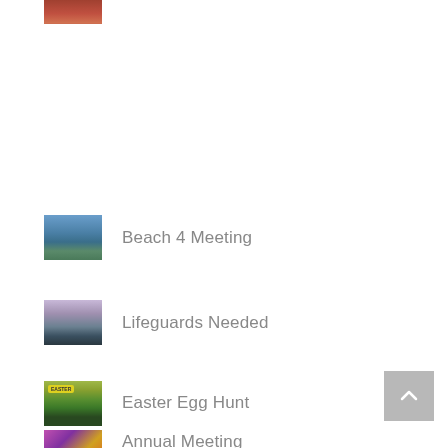[Figure (photo): Partial thumbnail of people near water at top of page]
[Figure (photo): Thumbnail of lake/river with tree-covered hills - Beach 4 Meeting]
Beach 4 Meeting
[Figure (photo): Thumbnail of calm water at dusk/purple sky - Lifeguards Needed]
Lifeguards Needed
[Figure (photo): Thumbnail of person on paddleboard on lake - Easter Egg Hunt]
Easter Egg Hunt
[Figure (photo): Partial thumbnail with colorful image - Annual Meeting]
Annual Meeting